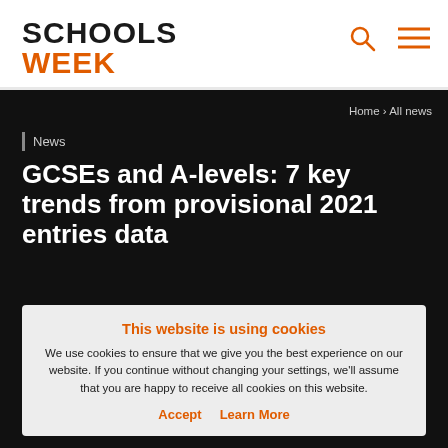SCHOOLS WEEK
Home › All news
News
GCSEs and A-levels: 7 key trends from provisional 2021 entries data
This website is using cookies
We use cookies to ensure that we give you the best experience on our website. If you continue without changing your settings, we'll assume that you are happy to receive all cookies on this website.
Accept   Learn More